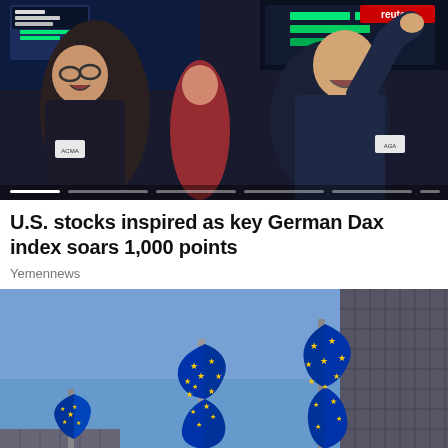[Figure (photo): Two men on a stock exchange trading floor, one with glasses laughing, the other raising his hand and smiling; trading screens and ticker displays visible in background. Progress bar/carousel indicators at bottom.]
U.S. stocks inspired as key German Dax index soars 1,000 points
Yemennews
[Figure (photo): Three European Union flags waving against a blue sky, with a modern curved glass building facade in the background.]